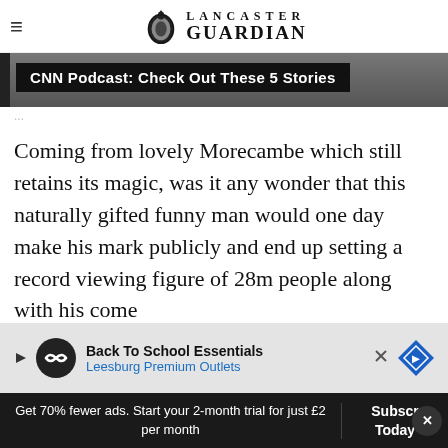Lancaster Guardian
[Figure (screenshot): CNN Podcast: Check Out These 5 Stories banner with dark background]
Coming from lovely Morecambe which still retains its magic, was it any wonder that this naturally gifted funny man would one day make his mark publicly and end up setting a record viewing figure of 28m people along with his come...
[Figure (infographic): Advertisement: Back To School Essentials - Leesburg Premium Outlets]
Get 70% fewer ads. Start your 2-month trial for just £2 per month
Subscribe Today